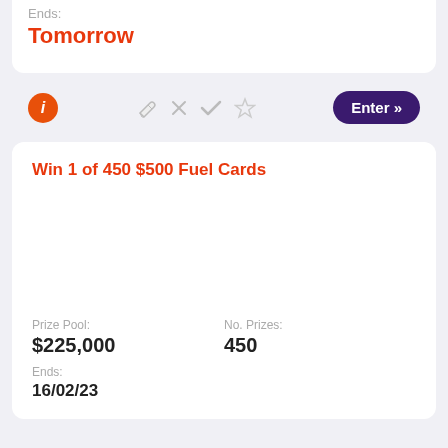Ends:
Tomorrow
[Figure (screenshot): Toolbar with info icon, pencil icon, X icon, checkmark icon, star icon, and Enter button]
Win 1 of 450 $500 Fuel Cards
Prize Pool:
$225,000
No. Prizes:
450
Ends:
16/02/23